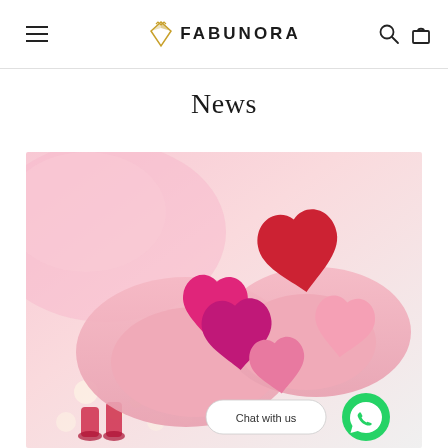FABUNORA
News
[Figure (photo): Hands in pink knitted gloves holding several colorful heart-shaped wooden pieces in red, hot pink, and light pink, with a blurred pink background and bokeh lights.]
Chat with us